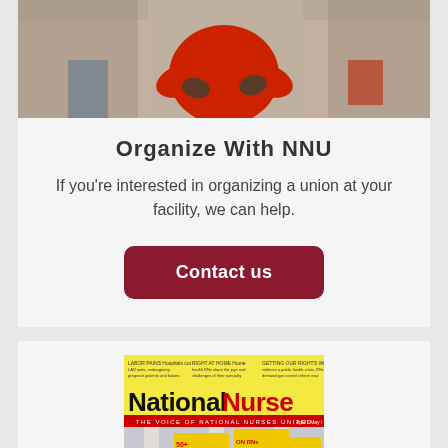[Figure (photo): Photo of person in red shirt with arms crossed, outdoors]
Organize With NNU
If you're interested in organizing a union at your facility, we can help.
[Figure (illustration): Contact us button — dark red rounded rectangle with white bold text 'Contact us']
[Figure (photo): Cover of National Nurse magazine, April/May/June 2022, showing RNs on strike holding yellow signs reading 'RNs ON STRIKE']